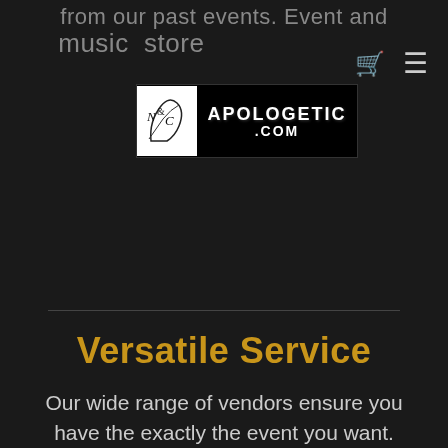from our past events. Event and music store by partner
[Figure (logo): Apologetic.com logo with stylized N&C script on white background and bold text APOLOGETIC .COM on black background]
Versatile Service
Our wide range of vendors ensure you have the exactly the event you want. From corporate event functions to anniversary parties, we help you find the event schedule that works for you. Contact us to meet with our